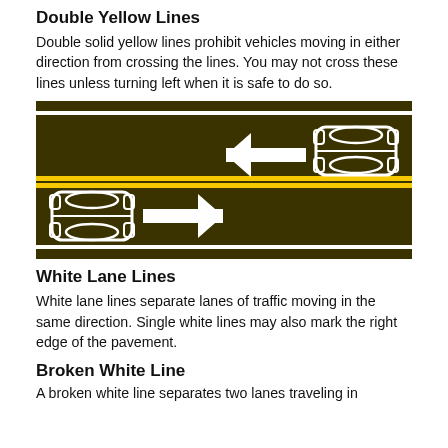Double Yellow Lines
Double solid yellow lines prohibit vehicles moving in either direction from crossing the lines. You may not cross these lines unless turning left when it is safe to do so.
[Figure (illustration): Top-down diagram of a two-lane road divided by double solid yellow lines in the center. White edge lines run along top and bottom. Upper lane shows a car (top view, outlined in white) on the right with a leftward arrow pointing left. Lower lane shows a car (top view, outlined in white) on the left with a rightward arrow pointing right. Road surface is dark brown/olive.]
White Lane Lines
White lane lines separate lanes of traffic moving in the same direction. Single white lines may also mark the right edge of the pavement.
Broken White Line
A broken white line separates two lanes traveling in